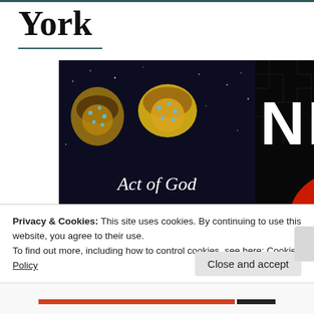York
[Figure (photo): Two book covers side by side: 'Act of God, a novel by Jill Ciment' (left, dark background with illustrated wigs/hairpieces) and 'Near Enemy by Adam Sternbergh' (right, dark maze background with red splatter and city skyline)]
In my latest
Privacy & Cookies: This site uses cookies. By continuing to use this website, you agree to their use.
To find out more, including how to control cookies, see here: Cookie Policy
Close and accept